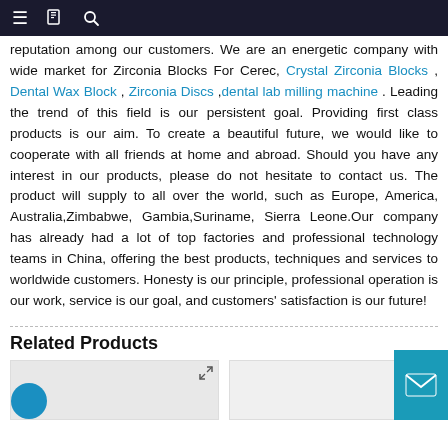Navigation bar with menu, bookmark, and search icons
reputation among our customers. We are an energetic company with wide market for Zirconia Blocks For Cerec, Crystal Zirconia Blocks , Dental Wax Block , Zirconia Discs ,dental lab milling machine . Leading the trend of this field is our persistent goal. Providing first class products is our aim. To create a beautiful future, we would like to cooperate with all friends at home and abroad. Should you have any interest in our products, please do not hesitate to contact us. The product will supply to all over the world, such as Europe, America, Australia,Zimbabwe, Gambia,Suriname, Sierra Leone.Our company has already had a lot of top factories and professional technology teams in China, offering the best products, techniques and services to worldwide customers. Honesty is our principle, professional operation is our work, service is our goal, and customers' satisfaction is our future!
Related Products